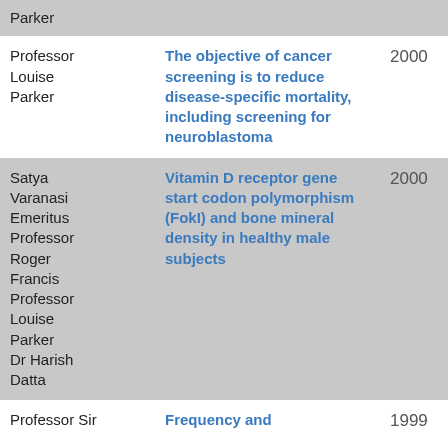| Author | Title | Year |
| --- | --- | --- |
| Parker |  |  |
| Professor Louise Parker | The objective of cancer screening is to reduce disease-specific mortality, including screening for neuroblastoma | 2000 |
| Satya Varanasi Emeritus Professor Roger Francis Professor Louise Parker Dr Harish Datta | Vitamin D receptor gene start codon polymorphism (FokI) and bone mineral density in healthy male subjects | 2000 |
| Professor Sir | Frequency and | 1999 |